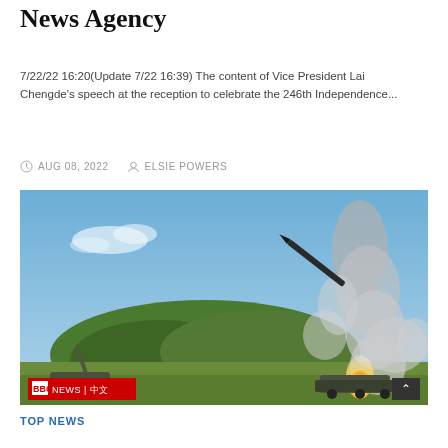News Agency
7/22/22 16:20(Update 7/22 16:39) The content of Vice President Lai Chengde's speech at the reception to celebrate the 246th Independence...
AUG 08, 2022   ELSIE POWERS
[Figure (photo): A missile launching from a vehicle on a field, with smoke and flame visible, a forested hill in the background and blue sky. BBC NEWS | 中文 badge in the lower left corner.]
TOP NEWS